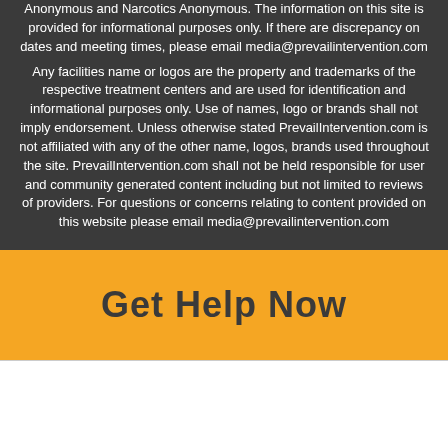Anonymous and Narcotics Anonymous. The information on this site is provided for informational purposes only. If there are discrepancy on dates and meeting times, please email media@prevailintervention.com Any facilities name or logos are the property and trademarks of the respective treatment centers and are used for identification and informational purposes only. Use of names, logo or brands shall not imply endorsement. Unless otherwise stated PrevailIntervention.com is not affiliated with any of the other name, logos, brands used throughout the site. PrevailIntervention.com shall not be held responsible for user and community generated content including but not limited to reviews of providers. For questions or concerns relating to content provided on this website please email media@prevailintervention.com
Get Help Now